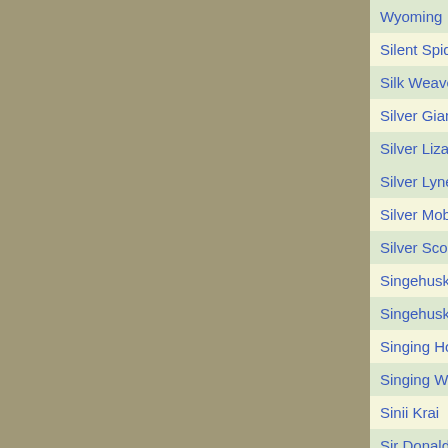| Name | Number | Range |
| --- | --- | --- |
| Wyoming |  | ft., swim 50 ft. |
| Silent Spider | 1/4 | 20 ft., climb 20 ft. |
| Silk Weaver | 10 | 35 ft. |
| Silver Giant | 15 | 50 ft., climb 50 ft., swim 50 ft. |
| Silver Lizalfos | 8 | 40 ft., climb 40 ft., swim 40 ft. |
| Silver Lynel | 18 | 60 ft. |
| Silver Moblin | 8 | 30 ft. |
| Silver Scourge | 5 | 30 ft. |
| Singehusk | 2 | 30 ft. |
| Singehusk Ashborn | 8 | 30 ft. |
| Singing Holly | 3 | 0 ft. |
| Singing Whale | 6 | 0 ft., swim 50 ft. |
| Sinii Krai | 11 | 40 ft., fly 80 ft., swim 50 ft. |
| Sir Donald Duck | 4 | 25 ft., swim |